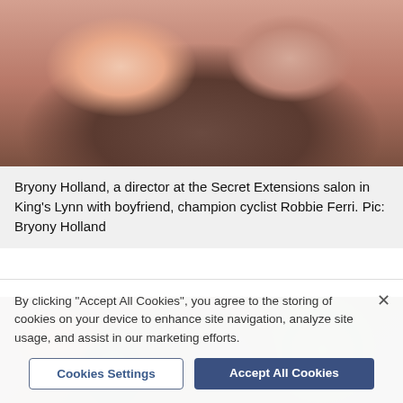[Figure (photo): Close-up photo of two people smiling together, a woman with long dark hair and a man with stubble, cropped at the top of the page.]
Bryony Holland, a director at the Secret Extensions salon in King's Lynn with boyfriend, champion cyclist Robbie Ferri. Pic: Bryony Holland
[Figure (photo): Person wearing a camouflage cap with a patch showing wings and circular logo, surrounded by tropical greenery and orange flowers.]
By clicking "Accept All Cookies", you agree to the storing of cookies on your device to enhance site navigation, analyze site usage, and assist in our marketing efforts.